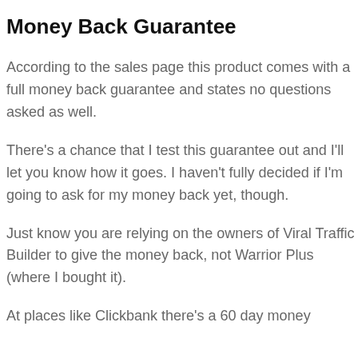Money Back Guarantee
According to the sales page this product comes with a full money back guarantee and states no questions asked as well.
There's a chance that I test this guarantee out and I'll let you know how it goes. I haven't fully decided if I'm going to ask for my money back yet, though.
Just know you are relying on the owners of Viral Traffic Builder to give the money back, not Warrior Plus (where I bought it).
At places like Clickbank there's a 60 day money